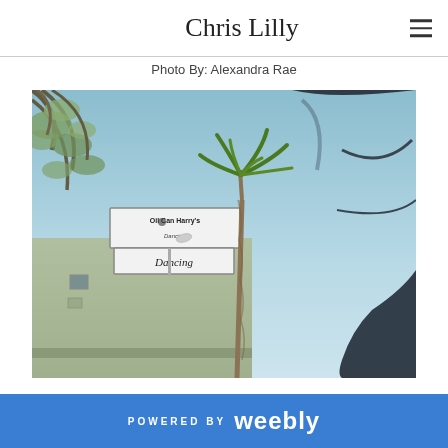Chris Lilly
Photo By: Alexandra Rae
[Figure (photo): Outdoor photograph showing a building with a sign reading 'Oil Can Harry's Dancing', a palm tree in the background, a large dark blue cowboy boot/hat sculpture on the right, and tree branches on the upper left, against a blue sky.]
POWERED BY weebly